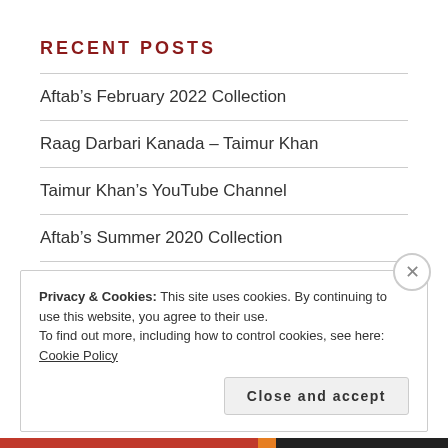RECENT POSTS
Aftab’s February 2022 Collection
Raag Darbari Kanada – Taimur Khan
Taimur Khan’s YouTube Channel
Aftab’s Summer 2020 Collection
Aftab’s Summer 2019 Collection
Aftab’s Autumn 2017 Collection
Privacy & Cookies: This site uses cookies. By continuing to use this website, you agree to their use.
To find out more, including how to control cookies, see here: Cookie Policy
Close and accept